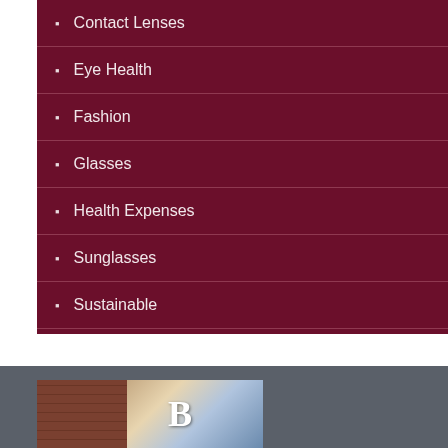Contact Lenses
Eye Health
Fashion
Glasses
Health Expenses
Sunglasses
Sustainable
Uncategorized
[Figure (photo): Exterior building photo showing brick wall and letter B signage]